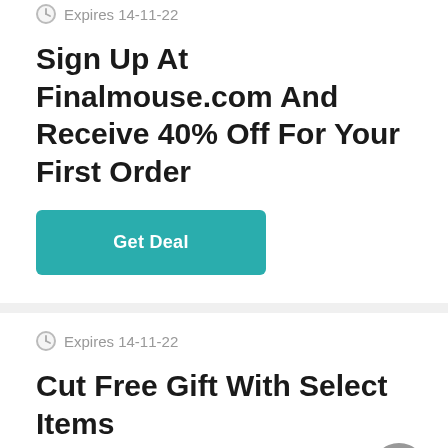Expires 14-11-22
Sign Up At Finalmouse.com And Receive 40% Off For Your First Order
Get Deal
Expires 14-11-22
Cut Free Gift With Select Items
Get Deal